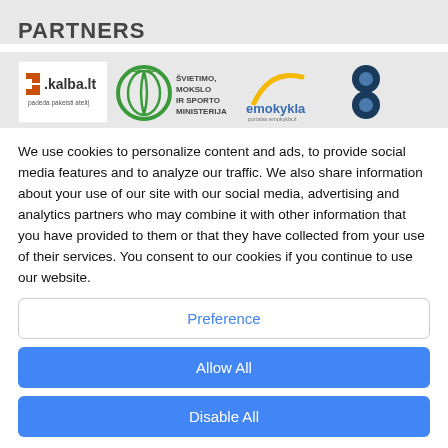PARTNERS
[Figure (logo): Row of partner logos: kalba.lt, Švietimo Mokslo ir Sporto Ministerija, emokykla, and a dark blue circles logo]
We use cookies to personalize content and ads, to provide social media features and to analyze our traffic. We also share information about your use of our site with our social media, advertising and analytics partners who may combine it with other information that you have provided to them or that they have collected from your use of their services. You consent to our cookies if you continue to use our website.
Preference
Allow All
Disable All